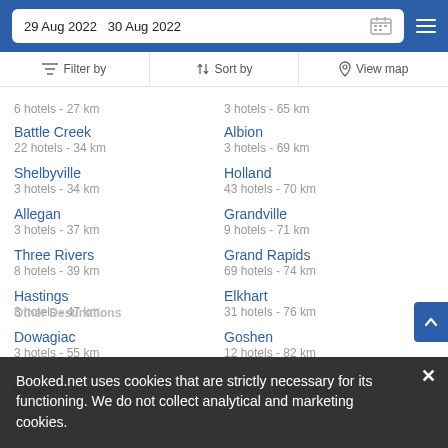29 Aug 2022  30 Aug 2022
Filter by | Sort by | View map
6 hotels - 27 km | 3 hotels - 65 km
Battle Creek
22 hotels - 34 km
Albion
3 hotels - 69 km
Shelbyville
3 hotels - 34 km
Holland
43 hotels - 70 km
Allegan
3 hotels - 37 km
Grandville
9 hotels - 71 km
Three Rivers
8 hotels - 39 km
Grand Rapids
69 hotels - 74 km
Hastings
3 hotels - 47 km
Elkhart
31 hotels - 76 km
Dowagiac
3 hotels - 55 km
Goshen
12 hotels - 82 km
Other Destinations
Motels in Durant Ok | Hotel in Dublin Ireland
Booked.net uses cookies that are strictly necessary for its functioning. We do not collect analytical and marketing cookies.